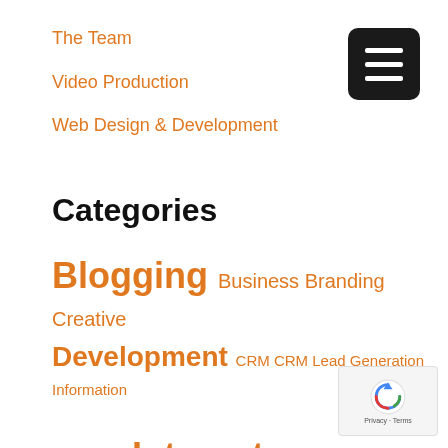The Team
Video Production
Web Design & Development
Categories
Blogging Business Branding Creative Development CRM CRM Lead Generation Information Technology Internet Marketing IT Landing Page Optimization Local SEO Managed Service Providers Marketing Marketing Automation MSPs News Online Lead Generation Print Marketing Random Reno
[Figure (other): Hamburger menu button icon, black rounded square with three white horizontal lines]